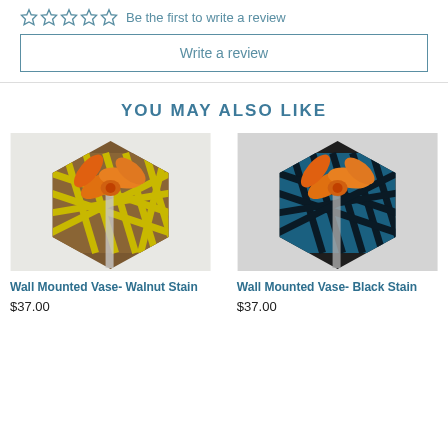Be the first to write a review
Write a review
YOU MAY ALSO LIKE
[Figure (photo): Wall Mounted Vase- Walnut Stain product photo showing a hexagonal wooden vase with yellow lattice pattern and orange lily flower]
Wall Mounted Vase- Walnut Stain
$37.00
[Figure (photo): Wall Mounted Vase- Black Stain product photo showing a hexagonal black vase with blue lattice pattern and orange lily flower]
Wall Mounted Vase- Black Stain
$37.00